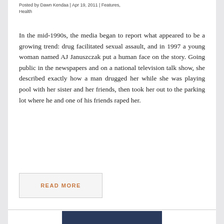Posted by Dawn Kendaa | Apr 19, 2011 | Features, Health
In the mid-1990s, the media began to report what appeared to be a growing trend: drug facilitated sexual assault, and in 1997 a young woman named AJ Januszczak put a human face on the story. Going public in the newspapers and on a national television talk show, she described exactly how a man drugged her while she was playing pool with her sister and her friends, then took her out to the parking lot where he and one of his friends raped her.
READ MORE